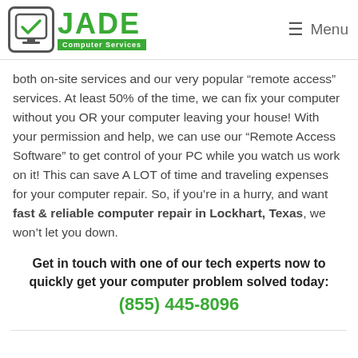JADE Computer Services — Menu
both on-site services and our very popular “remote access” services. At least 50% of the time, we can fix your computer without you OR your computer leaving your house! With your permission and help, we can use our “Remote Access Software” to get control of your PC while you watch us work on it! This can save A LOT of time and traveling expenses for your computer repair. So, if you’re in a hurry, and want fast & reliable computer repair in Lockhart, Texas, we won’t let you down.
Get in touch with one of our tech experts now to quickly get your computer problem solved today: (855) 445-8096